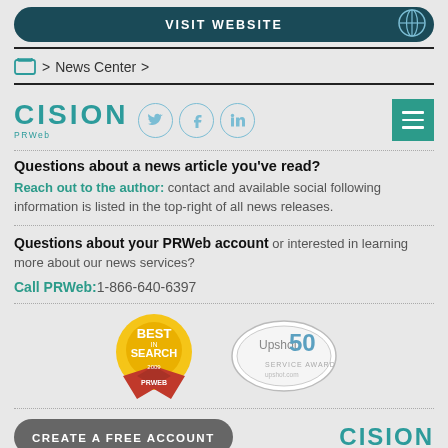VISIT WEBSITE
> News Center >
[Figure (logo): Cision PRWeb logo with social media icons (Twitter, Facebook, LinkedIn) and hamburger menu button]
Questions about a news article you've read?
Reach out to the author: contact and available social following information is listed in the top-right of all news releases.
Questions about your PRWeb account or interested in learning more about our news services?
Call PRWeb:1-866-640-6397
[Figure (logo): Two award badges: Best in Search (TopSEOs) and Upshot 50]
CREATE A FREE ACCOUNT